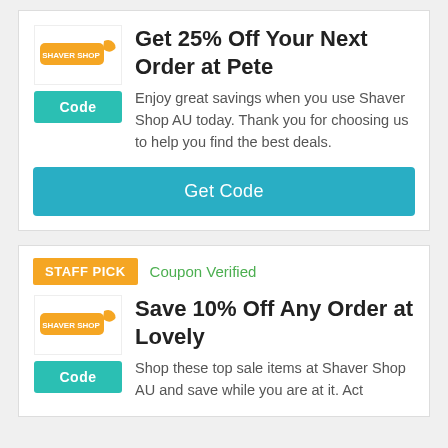[Figure (logo): Shaver Shop AU logo - orange rounded rectangle with white text and bird icon]
Get 25% Off Your Next Order at Pete
Enjoy great savings when you use Shaver Shop AU today. Thank you for choosing us to help you find the best deals.
Get Code
STAFF PICK
Coupon Verified
[Figure (logo): Shaver Shop AU logo - orange rounded rectangle with white text and bird icon]
Save 10% Off Any Order at Lovely
Shop these top sale items at Shaver Shop AU and save while you are at it. Act